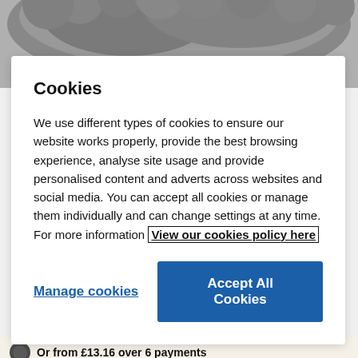[Figure (photo): Partial view of a grey fluffy product (appears to be a sheepskin or faux fur item) shown at the top of the page against a light grey background.]
Cookies
We use different types of cookies to ensure our website works properly, provide the best browsing experience, analyse site usage and provide personalised content and adverts across websites and social media. You can accept all cookies or manage them individually and can change settings at any time. For more information View our cookies policy here
Manage cookies
Accept All Cookies
Was £100.00
Or from £13.16 over 6 payments